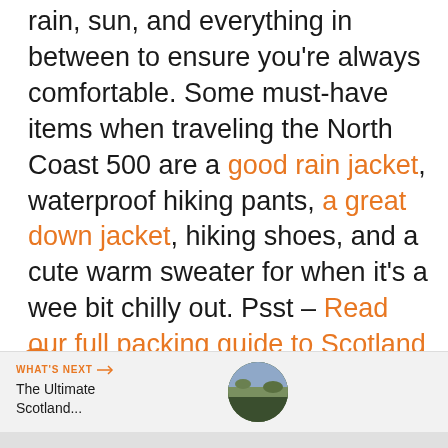rain, sun, and everything in between to ensure you're always comfortable. Some must-have items when traveling the North Coast 500 are a good rain jacket, waterproof hiking pants, a great down jacket, hiking shoes, and a cute warm sweater for when it's a wee bit chilly out. Psst – Read our full packing guide to Scotland here!
[Figure (other): Social media sidebar with heart/like button showing 4 likes and a share button]
[Figure (other): 'WHAT'S NEXT' recommendation bar with thumbnail image of Scottish landscape and text 'The Ultimate Scotland...']